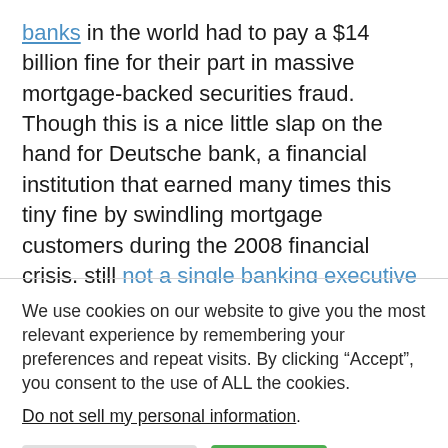banks in the world had to pay a $14 billion fine for their part in massive mortgage-backed securities fraud. Though this is a nice little slap on the hand for Deutsche bank, a financial institution that earned many times this tiny fine by swindling mortgage customers during the 2008 financial crisis, still not a single banking executive will do time behind bars. More importantly, these same executives are free to swindle the masses once again.
We use cookies on our website to give you the most relevant experience by remembering your preferences and repeat visits. By clicking “Accept”, you consent to the use of ALL the cookies.
Do not sell my personal information.